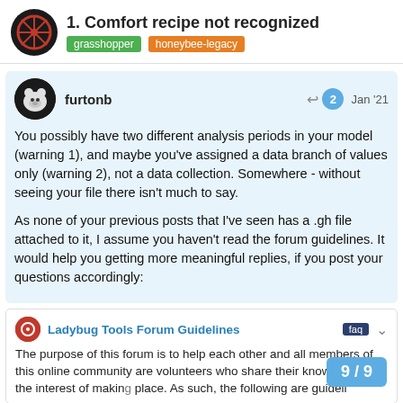1. Comfort recipe not recognized
grasshopper   honeybee-legacy
furtonb   Jan '21
You possibly have two different analysis periods in your model (warning 1), and maybe you've assigned a data branch of values only (warning 2), not a data collection. Somewhere - without seeing your file there isn't much to say.

As none of your previous posts that I've seen has a .gh file attached to it, I assume you haven't read the forum guidelines. It would help you getting more meaningful replies, if you post your questions accordingly:
Ladybug Tools Forum Guidelines   faq
The purpose of this forum is to help each other and all members of this online community are volunteers who share their knowledge in the interest of making place. As such, the following are guideli
9 / 9